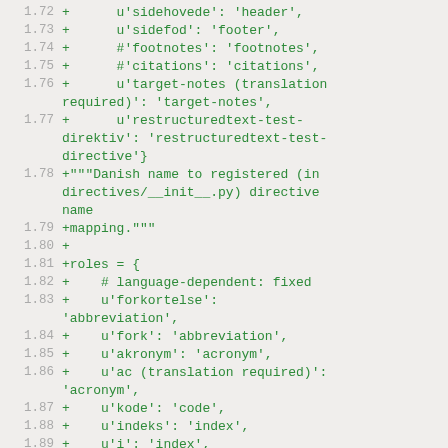1.72  +      u'sidehovede': 'header',
1.73  +      u'sidefod': 'footer',
1.74  +      #'footnotes': 'footnotes',
1.75  +      #'citations': 'citations',
1.76  +      u'target-notes (translation required)': 'target-notes',
1.77  +      u'restructuredtext-test-direktiv': 'restructuredtext-test-directive'}
1.78  +"""Danish name to registered (in directives/__init__.py) directive name
1.79  +mapping."""
1.80  +
1.81  +roles = {
1.82  +    # language-dependent: fixed
1.83  +    u'forkortelse': 'abbreviation',
1.84  +    u'fork': 'abbreviation',
1.85  +    u'akronym': 'acronym',
1.86  +    u'ac (translation required)': 'acronym',
1.87  +    u'kode': 'code',
1.88  +    u'indeks': 'index',
1.89  +    u'i': 'index',
1.90  +    u'subscript (translation required)': 'subscript',
1.91  +    u'sub (translation required)': 'subscript',